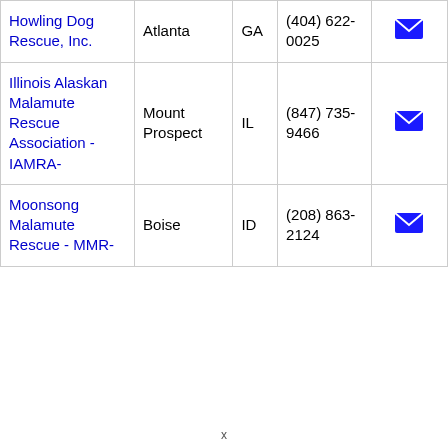| Organization | City | State | Phone | Contact |
| --- | --- | --- | --- | --- |
| Howling Dog Rescue, Inc. | Atlanta | GA | (404) 622-0025 | [email] |
| Illinois Alaskan Malamute Rescue Association - IAMRA- | Mount Prospect | IL | (847) 735-9466 | [email] |
| Moonsong Malamute Rescue - MMR- | Boise | ID | (208) 863-2124 | [email] |
x